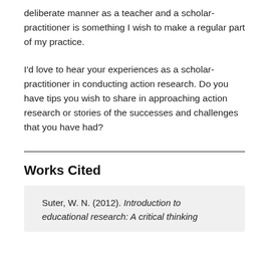deliberate manner as a teacher and a scholar-practitioner is something I wish to make a regular part of my practice.
I'd love to hear your experiences as a scholar-practitioner in conducting action research. Do you have tips you wish to share in approaching action research or stories of the successes and challenges that you have had?
Works Cited
Suter, W. N. (2012). Introduction to educational research: A critical thinking...